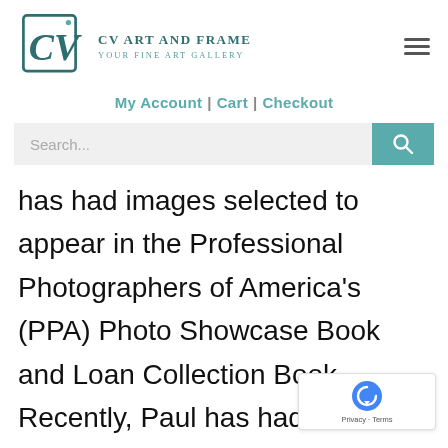[Figure (logo): CV Art and Frame logo with stylized CV letters in a square frame, teal color scheme. Text reads 'CV Art and Frame / Your Fine Art Gallery']
My Account | Cart | Checkout
Search...
has had images selected to appear in the Professional Photographers of America's (PPA) Photo Showcase Book and Loan Collection Book. Recently, Paul has had one of his images selected by The American Society o Photographers (ASP) as one of the